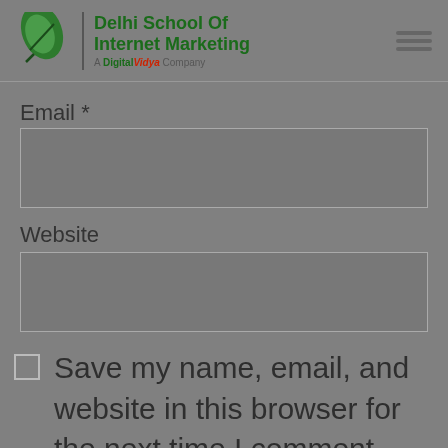[Figure (logo): Delhi School of Internet Marketing logo with leaf/pen icon, green text header, and 'A DigitalVidya Company' subtitle. Hamburger menu icon top right.]
Email *
Website
Save my name, email, and website in this browser for the next time I comment.